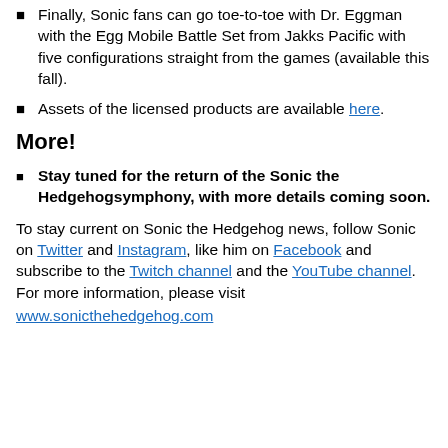Finally, Sonic fans can go toe-to-toe with Dr. Eggman with the Egg Mobile Battle Set from Jakks Pacific with five configurations straight from the games (available this fall).
Assets of the licensed products are available here.
More!
Stay tuned for the return of the Sonic the Hedgehogsymphony, with more details coming soon.
To stay current on Sonic the Hedgehog news, follow Sonic on Twitter and Instagram, like him on Facebook and subscribe to the Twitch channel and the YouTube channel. For more information, please visit
www.sonicthehedgehog.com